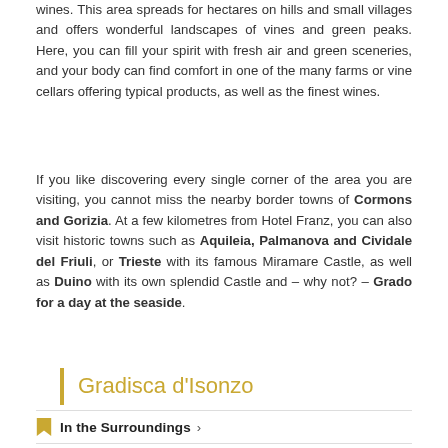wines. This area spreads for hectares on hills and small villages and offers wonderful landscapes of vines and green peaks. Here, you can fill your spirit with fresh air and green sceneries, and your body can find comfort in one of the many farms or vine cellars offering typical products, as well as the finest wines.
If you like discovering every single corner of the area you are visiting, you cannot miss the nearby border towns of Cormons and Gorizia. At a few kilometres from Hotel Franz, you can also visit historic towns such as Aquileia, Palmanova and Cividale del Friuli, or Trieste with its famous Miramare Castle, as well as Duino with its own splendid Castle and – why not? – Grado for a day at the seaside.
Gradisca d'Isonzo
In the Surroundings ›